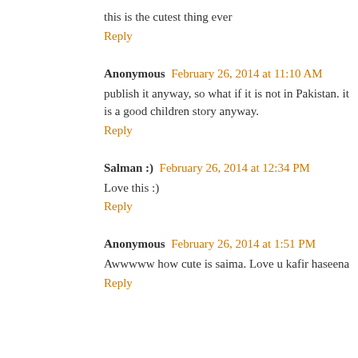this is the cutest thing ever
Reply
Anonymous February 26, 2014 at 11:10 AM
publish it anyway, so what if it is not in Pakistan. it is a good children story anyway.
Reply
Salman :) February 26, 2014 at 12:34 PM
Love this :)
Reply
Anonymous February 26, 2014 at 1:51 PM
Awwwww how cute is saima. Love u kafir haseena
Reply